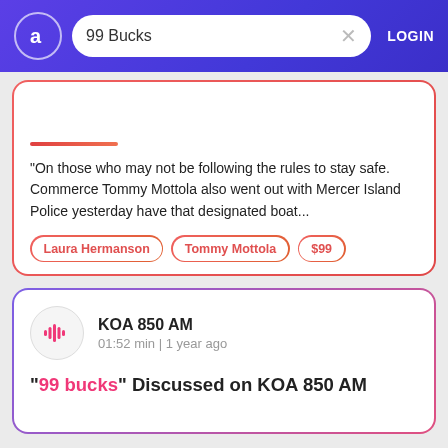99 Bucks — LOGIN
"On those who may not be following the rules to stay safe. Commerce Tommy Mottola also went out with Mercer Island Police yesterday have that designated boat..."
Laura Hermanson
Tommy Mottola
$99
KOA 850 AM
01:52 min | 1 year ago
"99 bucks" Discussed on KOA 850 AM